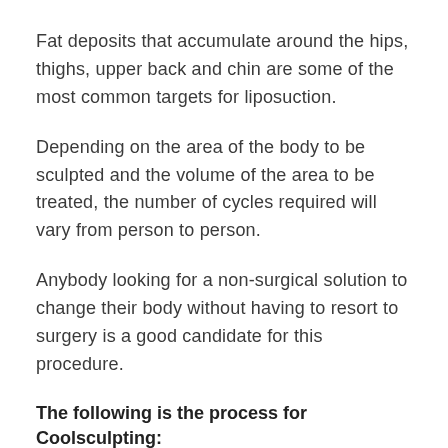Fat deposits that accumulate around the hips, thighs, upper back and chin are some of the most common targets for liposuction.
Depending on the area of the body to be sculpted and the volume of the area to be treated, the number of cycles required will vary from person to person.
Anybody looking for a non-surgical solution to change their body without having to resort to surgery is a good candidate for this procedure.
The following is the process for Coolsculpting:
Each cycle (application) takes about 30 minutes and up to six cycles can be completed in one day if you decide to go through with the treatment.
A gel cloth is applied on the affected area before to the application of the applicator that will be responsible for sucking and freezing the fat cells.